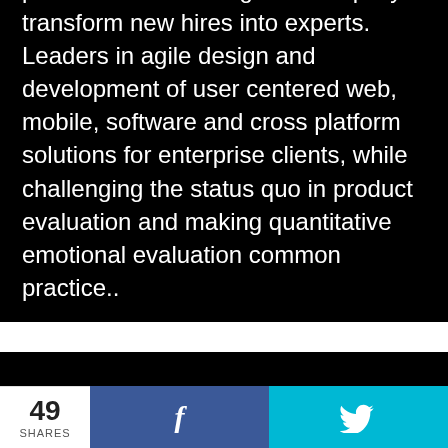and data modeling techniques in their training solutions to diagnose performance challenges and rapidly transform new hires into experts. Leaders in agile design and development of user centered web, mobile, software and cross platform solutions for enterprise clients, while challenging the status quo in product evaluation and making quantitative emotional evaluation common practice..
[Figure (other): Black background block with an upward arrow icon]
49 SHARES
[Figure (other): Facebook share button with f icon on dark blue background]
[Figure (other): Twitter share button with bird icon on cyan background]